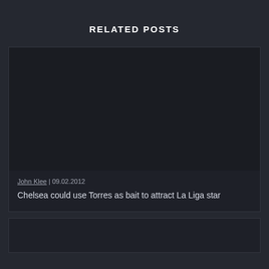RELATED POSTS
[Figure (photo): Dark placeholder image for article thumbnail]
John Klee | 09.02.2012
Chelsea could use Torres as bait to attract La Liga star
[Figure (photo): Dark placeholder image for second article thumbnail]